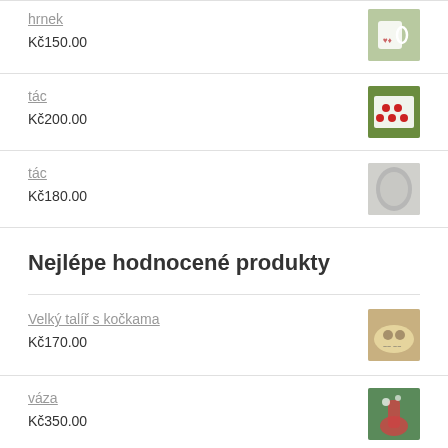hrnek
Kč150.00
tác
Kč200.00
tác
Kč180.00
Nejlépe hodnocené produkty
Velký talíř s kočkama
Kč170.00
váza
Kč350.00